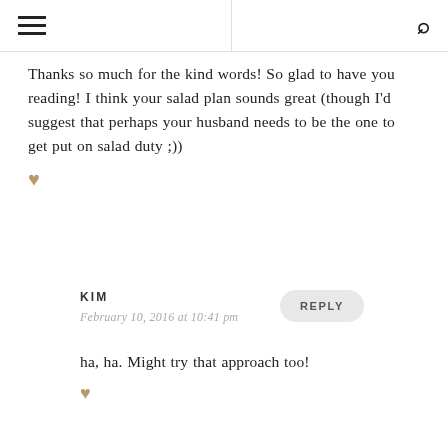☰ 🔍
Thanks so much for the kind words! So glad to have you reading! I think your salad plan sounds great (though I'd suggest that perhaps your husband needs to be the one to get put on salad duty ;))
KIM
February 10, 2016 at 10:41 pm
ha, ha. Might try that approach too!